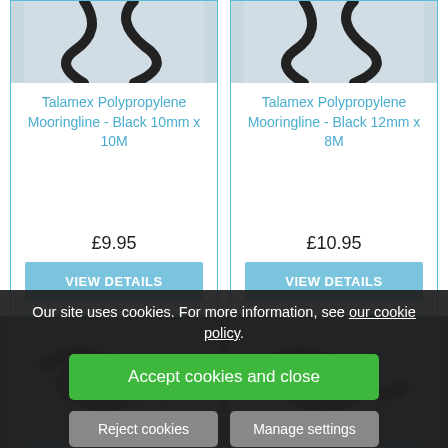[Figure (photo): Photo of black polypropylene rope/mooring line, top portion visible]
Talamex Polypropylene Mooringline - Black 10mm x 10M
£9.95
VIEW DETAILS
[Figure (photo): Photo of black polypropylene rope/mooring line, top portion visible]
Talamex Polypropylene Mooringline - Black 12mm x 8M
£10.95
VIEW DETAILS
Our site uses cookies. For more information, see our cookie policy.
Accept cookies and close
Reject cookies
Manage settings